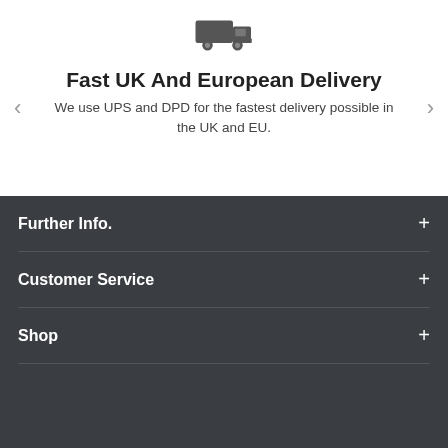[Figure (illustration): Dark grey delivery truck icon]
Fast UK And European Delivery
We use UPS and DPD for the fastest delivery possible in the UK and EU.
Further Info.
Customer Service
Shop
Join In Our Mailing List
Receive our latest updates about our products and promotions.